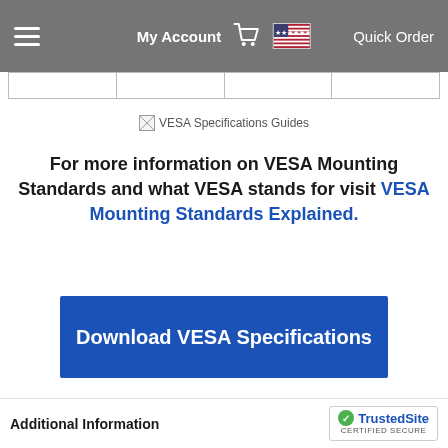My Account   Quick Order
|   |   |   |   |
[Figure (illustration): Broken image placeholder with alt text: VESA Specifications Guides]
For more information on VESA Mounting Standards and what VESA stands for visit VESA Mounting Standards Explained.
Download VESA Specifications
Additional Information   TrustedSite CERTIFIED SECURE